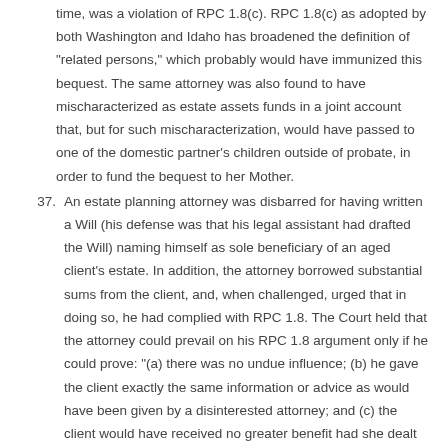time, was a violation of RPC 1.8(c). RPC 1.8(c) as adopted by both Washington and Idaho has broadened the definition of "related persons," which probably would have immunized this bequest. The same attorney was also found to have mischaracterized as estate assets funds in a joint account that, but for such mischaracterization, would have passed to one of the domestic partner's children outside of probate, in order to fund the bequest to her Mother.
37. An estate planning attorney was disbarred for having written a Will (his defense was that his legal assistant had drafted the Will) naming himself as sole beneficiary of an aged client's estate. In addition, the attorney borrowed substantial sums from the client, and, when challenged, urged that in doing so, he had complied with RPC 1.8. The Court held that the attorney could prevail on his RPC 1.8 argument only if he could prove: "(a) there was no undue influence; (b) he gave the client exactly the same information or advice as would have been given by a disinterested attorney; and (c) the client would have received no greater benefit had she dealt with a